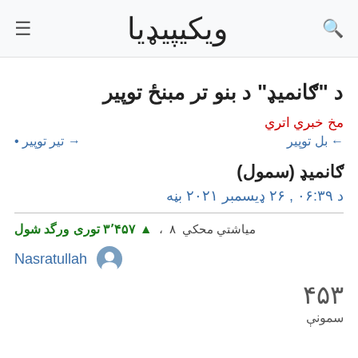ویکیپیډیا
د "ګانمیډ" د بنو تر مبنځ توپیر
مخ خبري اتري
→ تیر توپیر •
← بل توپیر
ګانمیډ (سمول)
د ۰۶:۳۹ , ۲۶ ډیسمبر ۲۰۲۱ بڼه
▲ ۳٬۴۵۷ توری ورگد شول ،  ۸ میاشتي محکي
Nasratullah
۴۵۳
سمونې